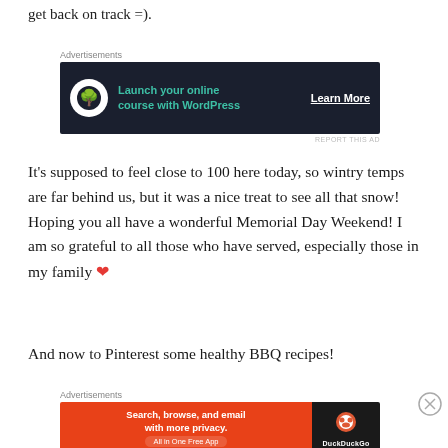get back on track =).
[Figure (screenshot): Advertisement banner: 'Launch your online course with WordPress' with 'Learn More' button on dark background with bonsai tree logo]
It's supposed to feel close to 100 here today, so wintry temps are far behind us, but it was a nice treat to see all that snow! Hoping you all have a wonderful Memorial Day Weekend! I am so grateful to all those who have served, especially those in my family ❤
And now to Pinterest some healthy BBQ recipes!
[Figure (screenshot): DuckDuckGo advertisement banner: 'Search, browse, and email with more privacy. All in One Free App' with DuckDuckGo logo]